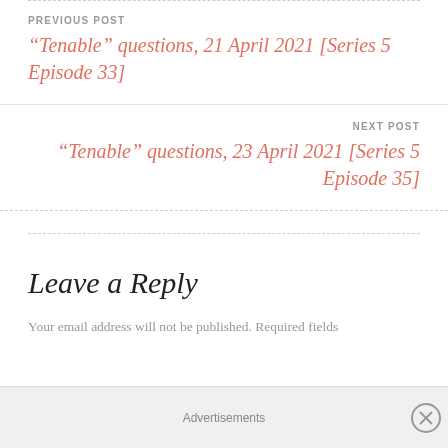PREVIOUS POST
“Tenable” questions, 21 April 2021 [Series 5 Episode 33]
NEXT POST
“Tenable” questions, 23 April 2021 [Series 5 Episode 35]
Leave a Reply
Your email address will not be published. Required fields
Advertisements